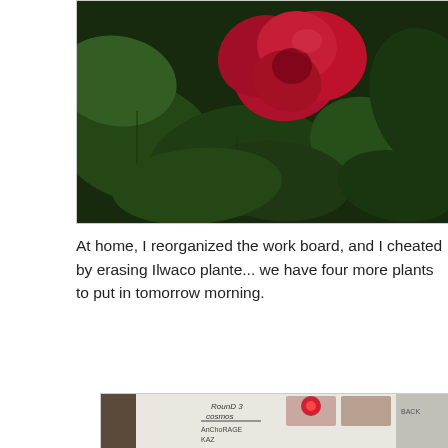[Figure (photo): Close-up photo of a red rose flower with dark green leaves in the background]
At home, I reorganized the work board, and I cheated by erasing Ilwaco plante... we have four more plants to put in tomorrow morning.
[Figure (photo): Photo of a whiteboard showing a list including: PRIORITIES, LASER: REDO PLANTS, ROUND 3 COSMOS, ANCHORAGE, KAZ, DIANE, BOATYARD, LB PARKS, HOME, DEPOT, TIME ENOUGH, KITE MUSEUM, LB PLANTERS, and partial text PATIO, W S, I SIT, HONT, BACK]